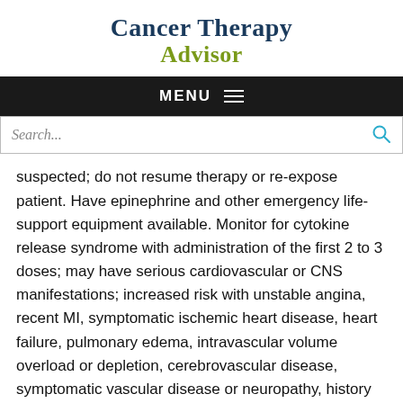Cancer Therapy Advisor
MENU
Search...
suspected; do not resume therapy or re-expose patient. Have epinephrine and other emergency life-support equipment available. Monitor for cytokine release syndrome with administration of the first 2 to 3 doses; may have serious cardiovascular or CNS manifestations; increased risk with unstable angina, recent MI, symptomatic ischemic heart disease, heart failure, pulmonary edema, intravascular volume overload or depletion, cerebrovascular disease, symptomatic vascular disease or neuropathy, history of seizures, septic shock; stabilize background conditions before initiation of therapy. Assess fluid status and perform chest X-ray to rule out volume overload, uncontrolled